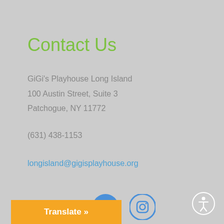Contact Us
GiGi's Playhouse Long Island
100 Austin Street, Suite 3
Patchogue, NY 11772
(631) 438-1153
longisland@gigisplayhouse.org
[Figure (logo): Facebook and Instagram social media icons side by side]
Translate »
[Figure (illustration): Accessibility icon — white human figure in a circle outline]